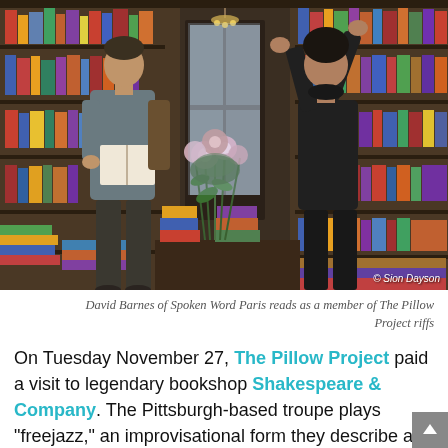[Figure (photo): A photo inside a bookshop (Shakespeare & Company). A man in a grey sweater holds an open book and reads. A woman in black with arms raised stands near a door. Bookshelves surround them, and a floral arrangement sits on a table. Photo credit: © Sion Dayson.]
David Barnes of Spoken Word Paris reads as a member of The Pillow Project riffs
On Tuesday November 27, The Pillow Project paid a visit to legendary bookshop Shakespeare & Company. The Pittsburgh-based troupe plays "freejazz," an improvisational form they describe as "using the body as the instrument playing visual notes."